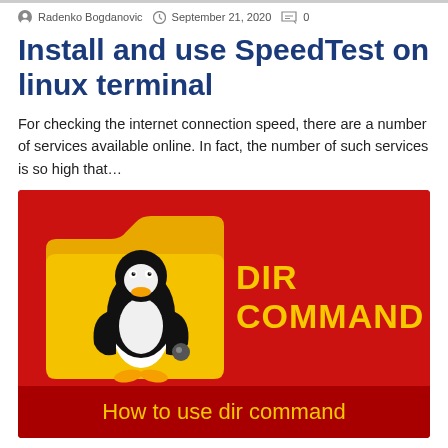Radenko Bogdanovic  September 21, 2020  0
Install and use SpeedTest on linux terminal
For checking the internet connection speed, there are a number of services available online. In fact, the number of such services is so high that…
[Figure (illustration): Red background image showing a yellow folder icon with Linux Tux penguin mascot, bold yellow text 'DIR COMMAND' on the right, and a darker red bottom bar with yellow text 'How to use dir command']